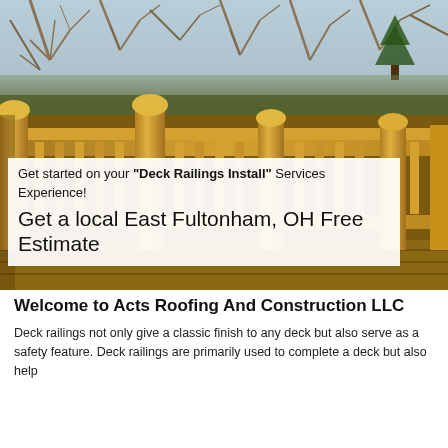[Figure (photo): Photograph of a wooden deck railing with vertical balusters and post caps, with bare trees and sky visible in the background. A white text overlay box sits in the lower-left of the photo.]
Get started on your "Deck Railings Install" Services Experience!
Get a local East Fultonham, OH Free Estimate
Welcome to Acts Roofing And Construction LLC
Deck railings not only give a classic finish to any deck but also serve as a safety feature. Deck railings are primarily used to complete a deck but also help...